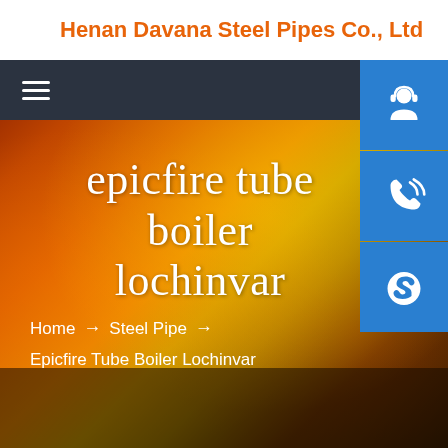Henan Davana Steel Pipes Co., Ltd
[Figure (screenshot): Website screenshot showing a steel manufacturing company page. Dark navy navigation bar with hamburger menu icon on the left. Background shows a fiery orange/red industrial scene with molten steel. Three blue icon buttons on the right side: headset/support icon, phone/call icon, and Skype icon. Main heading reads 'epicfire tube boiler lochinvar' in white serif font. Breadcrumb navigation below shows: Home → Steel Pipe → Epicfire Tube Boiler Lochinvar.]
epicfire tube boiler lochinvar
Home → Steel Pipe → Epicfire Tube Boiler Lochinvar